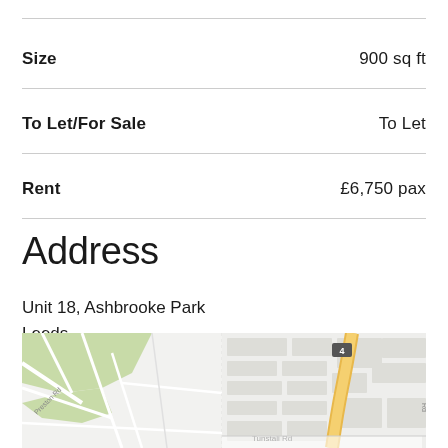| Size | 900 sq ft |
| To Let/For Sale | To Let |
| Rent | £6,750 pax |
Address
Unit 18, Ashbrooke Park
Leeds
LS11 5SF
[Figure (map): Street map showing location near Tunstali Rd, Leeds LS11 5SF area with road network and surrounding streets]